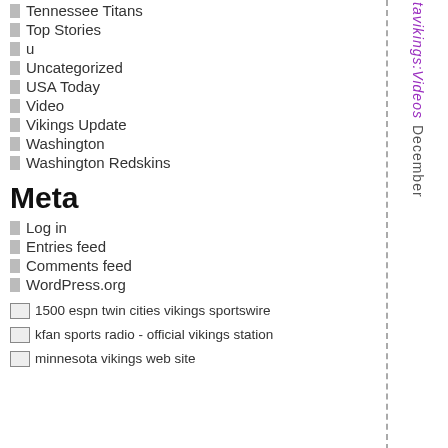Tennessee Titans
Top Stories
u
Uncategorized
USA Today
Video
Vikings Update
Washington
Washington Redskins
Meta
Log in
Entries feed
Comments feed
WordPress.org
[Figure (other): 1500 espn twin cities vikings sportswire image placeholder]
[Figure (other): kfan sports radio - official vikings station image placeholder]
[Figure (other): minnesota vikings web site image placeholder]
tavikings:Videos December